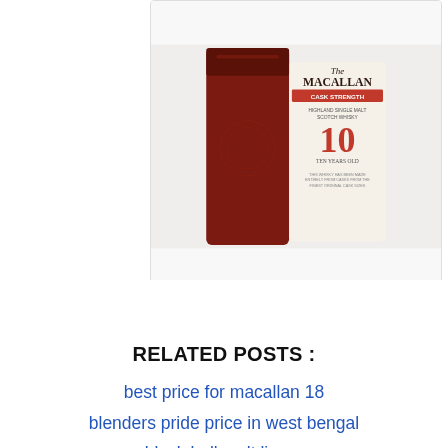[Figure (photo): Macallan Cask Strength 10 Year Old Highland Single Malt Scotch Whisky bottle]
Source: www.pinterest.com
A new visitor centre is opened and 1861 replica 17 400 bottles are introduced.
RELATED POSTS :
best price for macallan 18
blenders pride price in west bengal
black bull malt liquor
best cheap vodka for moscow mule